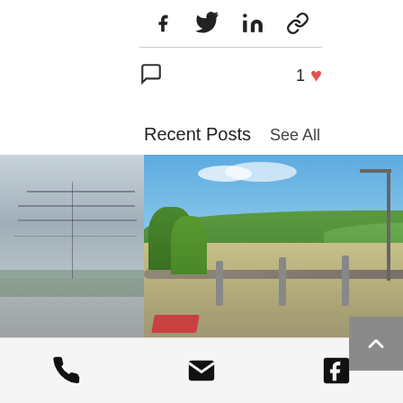[Figure (other): Social media share icons: Facebook, Twitter, LinkedIn, and another icon at the top]
[Figure (other): Comment icon (chat bubble) on left, '1' like count with heart icon on right]
Recent Posts
See All
[Figure (photo): Three horizontally scrolling post cards: partial left card showing road/utility poles, center card showing a bridge over a river with green hills and blue sky, partial right card showing a building column]
Construction updates: Various...
Phone icon, Email icon, Facebook icon